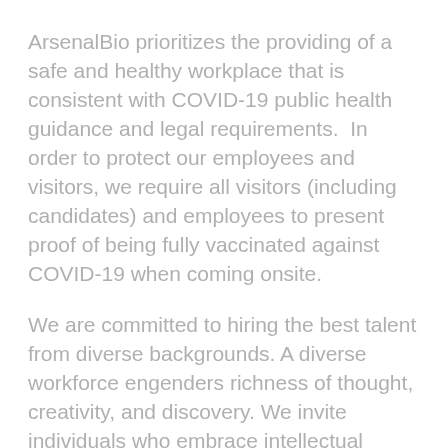ArsenalBio prioritizes the providing of a safe and healthy workplace that is consistent with COVID-19 public health guidance and legal requirements.  In order to protect our employees and visitors, we require all visitors (including candidates) and employees to present proof of being fully vaccinated against COVID-19 when coming onsite.
We are committed to hiring the best talent from diverse backgrounds. A diverse workforce engenders richness of thought, creativity, and discovery. We invite individuals who embrace intellectual achievement to bring their unique personal and professional journeys and together we will build transformative cell therapies for cancer